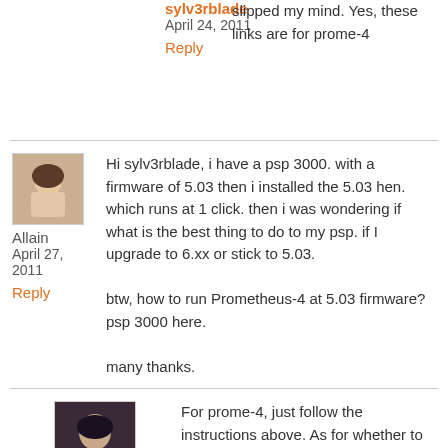slipped my mind. Yes, these links are for prome-4
sylv3rblade
April 24, 2011
Reply
Allain
April 27, 2011
Reply
Hi sylv3rblade, i have a psp 3000. with a firmware of 5.03 then i installed the 5.03 hen. which runs at 1 click. then i was wondering if what is the best thing to do to my psp. if I upgrade to 6.xx or stick to 5.03.

btw, how to run Prometheus-4 at 5.03 firmware? psp 3000 here.

many thanks.
sylv3rblade
For prome-4, just follow the instructions above. As for whether to upgrade or not, it depends on what you want to play. 6.xx